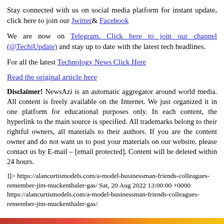Stay connected with us on social media platform for instant update, click here to join our Jwitter& Facebook
We are now on Telegram. Click here to join our channel (@TechiUpdate) and stay up to date with the latest tech headlines.
For all the latest Technology News Click Here
Read the original article here
Disclaimer! NewsAzi is an automatic aggregator around world media. All content is freely available on the Internet. We just organized it in one platform for educational purposes only. In each content, the hyperlink to the main source is specified. All trademarks belong to their rightful owners, all materials to their authors. If you are the content owner and do not want us to post your materials on our website, please contact us by E-mail – [email protected]. Content will be deleted within 24 hours.
]]> https://alancurtismodels.com/a-model-businessman-friends-colleagues-remember-jim-muckenthaler-gas/ Sat, 20 Aug 2022 13:00:00 +0000 https://alancurtismodels.com/a-model-businessman-friends-colleagues-remember-jim-muckenthaler-gas/